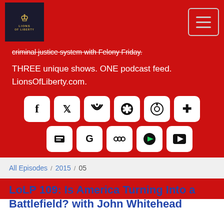[Figure (screenshot): Lions of Liberty logo on dark background with crest icon]
criminal justice system with Felony Friday.
THREE unique shows. ONE podcast feed. LionsOfLiberty.com.
[Figure (infographic): Social media sharing buttons: Facebook, Twitter, RSS, Castbox, Podcasts, Plus, Stitcher, Google, Google Podcasts, Spotify, YouTube]
All Episodes / 2015 / 05
LoLP 109: Is America Turning Into a Battlefield? with John Whitehead
[Figure (screenshot): Audio player widget showing LIONS OF LIBERTY NETWORK label, episode title LoLP 109: Is America Turning Into a Battlefiel..., play button, progress bar, timestamp 00:00:00 and control icons]